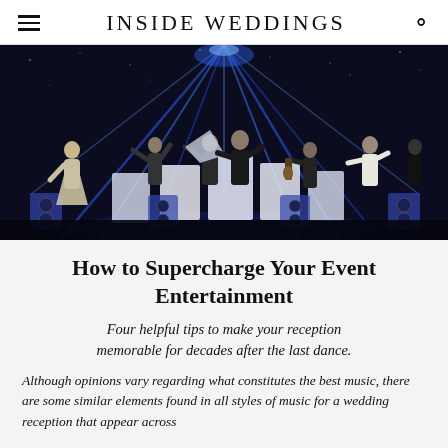INSIDE WEDDINGS
[Figure (photo): A live band performing on stage with blue stage lighting and laser beams. Multiple performers including singers, guitarists, and other musicians on a dark stage with illuminated backdrop panels.]
How to Supercharge Your Event Entertainment
Four helpful tips to make your reception memorable for decades after the last dance.
Although opinions vary regarding what constitutes the best music, there are some similar elements found in all styles of music for a wedding reception that appear across